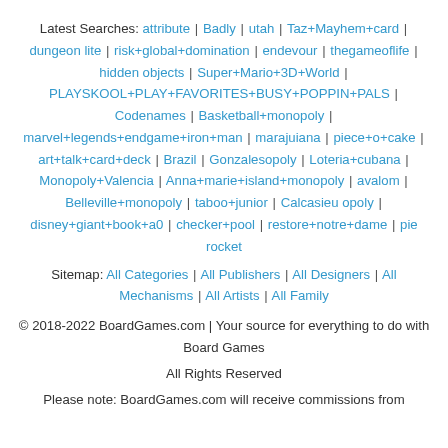Latest Searches: attribute | Badly | utah | Taz+Mayhem+card | dungeon lite | risk+global+domination | endevour | thegameoflife | hidden objects | Super+Mario+3D+World | PLAYSKOOL+PLAY+FAVORITES+BUSY+POPPIN+PALS | Codenames | Basketball+monopoly | marvel+legends+endgame+iron+man | marajuiana | piece+o+cake | art+talk+card+deck | Brazil | Gonzalesopoly | Loteria+cubana | Monopoly+Valencia | Anna+marie+island+monopoly | avalom | Belleville+monopoly | taboo+junior | Calcasieu opoly | disney+giant+book+a0 | checker+pool | restore+notre+dame | pie rocket
Sitemap: All Categories | All Publishers | All Designers | All Mechanisms | All Artists | All Family
© 2018-2022 BoardGames.com | Your source for everything to do with Board Games
All Rights Reserved
Please note: BoardGames.com will receive commissions from